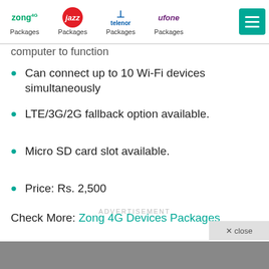Zong 4G Packages | Jazz Packages | Telenor Packages | Ufone Packages
computer to function
Can connect up to 10 Wi-Fi devices simultaneously
LTE/3G/2G fallback option available.
Micro SD card slot available.
Price: Rs. 2,500
Check More: Zong 4G Devices Packages
ADVERTISEMENT